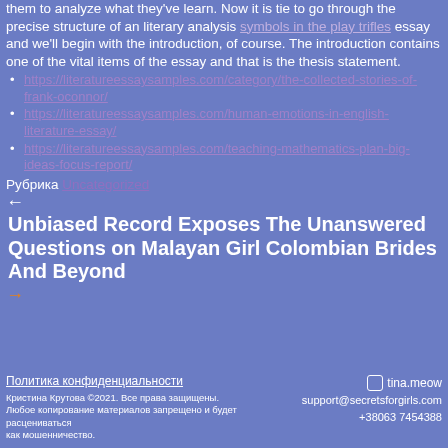them to analyze what they've learn. Now it is tie to go through the precise structure of an literary analysis symbols in the play trifles essay and we'll begin with the introduction, of course. The introduction contains one of the vital items of the essay and that is the thesis statement.
https://literatureessaysamples.com/category/the-collected-stories-of-frank-oconnor/
https://literatureessaysamples.com/human-emotions-in-english-literature-essay/
https://literatureessaysamples.com/teaching-mathematics-plan-big-ideas-focus-report/
Рубрика Uncategorized
←
Unbiased Record Exposes The Unanswered Questions on Malayan Girl Colombian Brides And Beyond
→
Политика конфиденциальности
Кристина Крутова ©2021. Все права защищены. Любое копирование материалов запрещено и будет расцениваться как мошенничество.
tina.meow
support@secretsforgirls.com
+38063 7454388